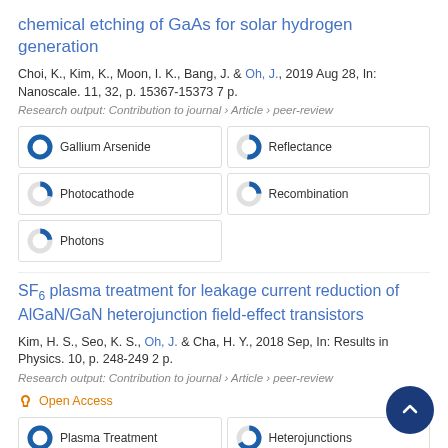chemical etching of GaAs for solar hydrogen generation
Choi, K., Kim, K., Moon, I. K., Bang, J. & Oh, J., 2019 Aug 28, In: Nanoscale. 11, 32, p. 15367-15373 7 p.
Research output: Contribution to journal › Article › peer-review
Gallium Arsenide
Reflectance
Photocathode
Recombination
Photons
SF6 plasma treatment for leakage current reduction of AlGaN/GaN heterojunction field-effect transistors
Kim, H. S., Seo, K. S., Oh, J. & Cha, H. Y., 2018 Sep, In: Results in Physics. 10, p. 248-249 2 p.
Research output: Contribution to journal › Article › peer-review
Open Access
Plasma Treatment
Heterojunctions